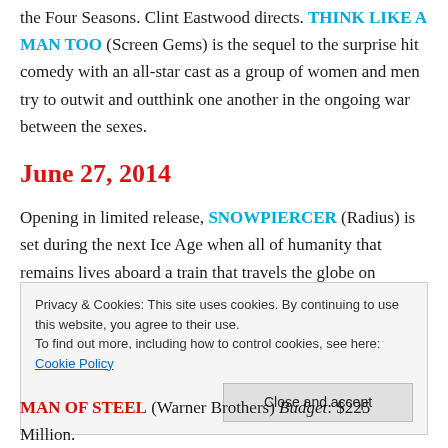the Four Seasons. Clint Eastwood directs. THINK LIKE A MAN TOO (Screen Gems) is the sequel to the surprise hit comedy with an all-star cast as a group of women and men try to outwit and outthink one another in the ongoing war between the sexes.
June 27, 2014
Opening in limited release, SNOWPIERCER (Radius) is set during the next Ice Age when all of humanity that remains lives aboard a train that travels the globe on
Privacy & Cookies: This site uses cookies. By continuing to use this website, you agree to their use. To find out more, including how to control cookies, see here: Cookie Policy
MAN OF STEEL (Warner Brothers) Budget: $225 Million.